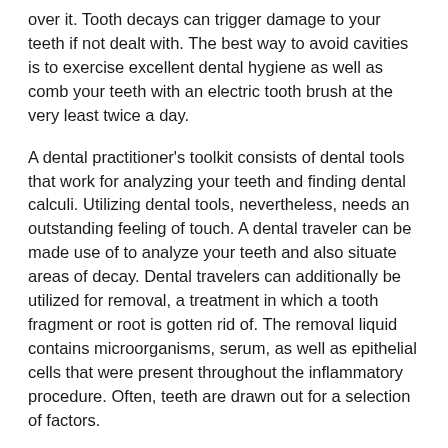over it. Tooth decays can trigger damage to your teeth if not dealt with. The best way to avoid cavities is to exercise excellent dental hygiene as well as comb your teeth with an electric tooth brush at the very least twice a day.
A dental practitioner's toolkit consists of dental tools that work for analyzing your teeth and finding dental calculi. Utilizing dental tools, nevertheless, needs an outstanding feeling of touch. A dental traveler can be made use of to analyze your teeth and also situate areas of decay. Dental travelers can additionally be utilized for removal, a treatment in which a tooth fragment or root is gotten rid of. The removal liquid contains microorganisms, serum, as well as epithelial cells that were present throughout the inflammatory procedure. Often, teeth are drawn out for a selection of factors.